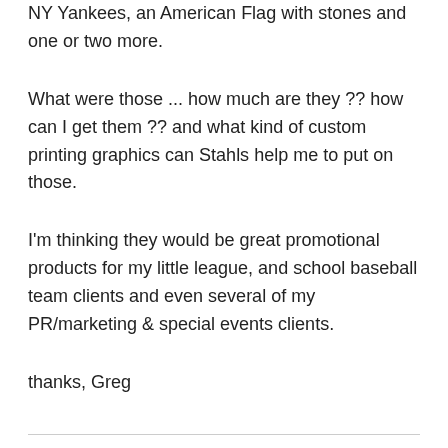NY Yankees, an American Flag with stones and one or two more.
What were those ... how much are they ?? how can I get them ?? and what kind of custom printing graphics can Stahls help me to put on those.
I'm thinking they would be great promotional products for my little league, and school baseball team clients and even several of my PR/marketing & special events clients.
thanks, Greg